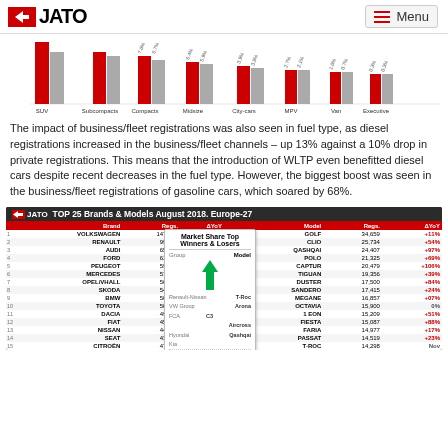JATO | Menu
[Figure (bar-chart): Partial bar chart showing market segments including SUV, Subcompacts, Compacts, Midsize, City-cars, MPV, Van, Executive, Sport, Luxury with red and grey bars and percentage labels]
The impact of business/fleet registrations was also seen in fuel type, as diesel registrations increased in the business/fleet channels – up 13% against a 10% drop in private registrations. This means that the introduction of WLTP even benefitted diesel cars despite recent decreases in the fuel type. However, the biggest boost was seen in the business/fleet registrations of gasoline cars, which soared by 68%.
|  | Brand | Regs. | ΔYoY |  | Model | Regs. | ΔYoY |
| --- | --- | --- | --- | --- | --- | --- | --- |
| 1 | VOLKSWAGEN | 147,940 | +45% | 1 | GOLF | 34,659 | +11% |
| 2 | RENAULT | 99,744 | +72% | 2 | CLIO | 25,734 | +54% |
| 3 | AUDI | 65,744 | +33% | 3 | QASHQAI | 24,407 | +97% |
| 4 | FORD | 61,970 | +15% | 4 | POLO | 21,325 | +69% |
| 5 | PEUGEOT | 59,343 | +20% | 5 | CAPTUR | 20,479 | +106% |
| 6 | MERCEDES | 57,345 | -3% | 6 | TIGUAN | 19,356 | +39% |
| 7 | OPEL/VHALL | 56,362 | +4% | 7 | DUSTER | 17,500 | +84% |
| 8 | SKODA | 54,265 | +14% | 8 | SANDERO | 17,415 | +24% |
| 9 | BMW | 50,772 | +5% | 9 | MEGANE | 16,857 | +07% |
| 10 | TOYOTA | 50,140 | +20% | 10 | OCTAVIA | 15,900 | 0% |
| 11 | DACIA | 49,020 | +45% | 11 | 1 EON | 15,209 | +51% |
| 12 | FIAT | 45,499 | +22% | 12 | FIESTA | 15,087 | +88% |
| 13 | NISSAN | 44,587 | +49% | 13 | FARIA | 14,977 | +17% |
| 14 | SEAT | 43,008 | +72% | 14 | PASSAT | 14,519 | +23% |
| 15 | CITROËN | 47,354 | +38% | 15 | T-ROC | 14,298 | Nov |